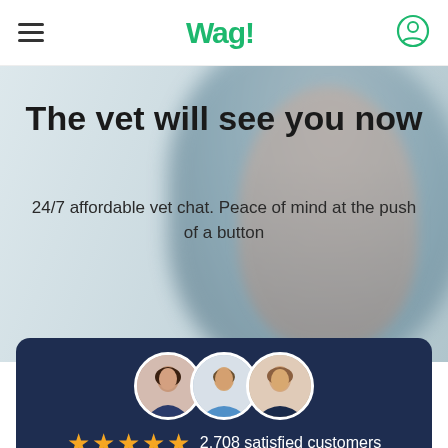Wag! — navigation bar with hamburger menu and user icon
The vet will see you now
24/7 affordable vet chat. Peace of mind at the push of a button
[Figure (infographic): Dark navy card showing three circular vet profile photos overlapping, five gold stars, and text '2,708 satisfied customers']
Tell us about your pet
Pet name
[Figure (screenshot): Dark navy chat bubble tooltip reading 'Need vet advice?' with arrow pointing right, next to circular avatar photo of a woman with a red notification dot]
Breed (type to search)